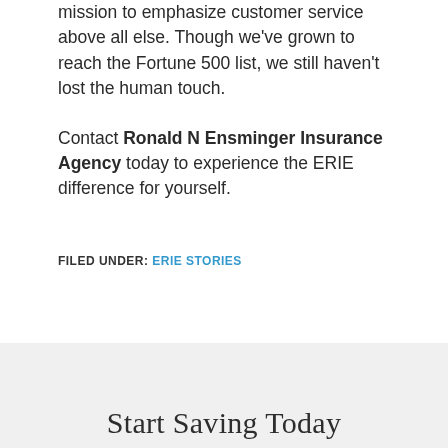mission to emphasize customer service above all else. Though we've grown to reach the Fortune 500 list, we still haven't lost the human touch.

Contact Ronald N Ensminger Insurance Agency today to experience the ERIE difference for yourself.
FILED UNDER: ERIE STORIES
Start Saving Today